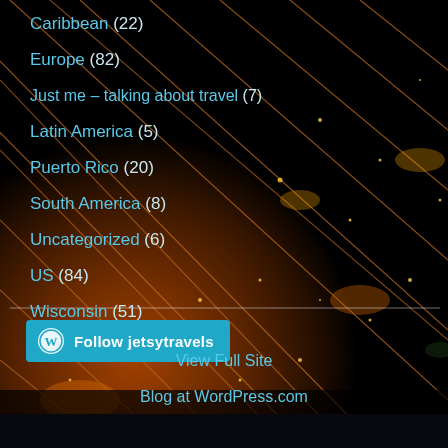Caribbean (22)
Europe (82)
Just me – talking about travel (7)
Latin America (5)
Puerto Rico (20)
South America (8)
Uncategorized (6)
US (84)
Wisconsin (51)
[Figure (photo): Aerial night photograph of a city grid with orange glowing street lights viewed from above]
Follow jetsytravels
View Full Site
Blog at WordPress.com